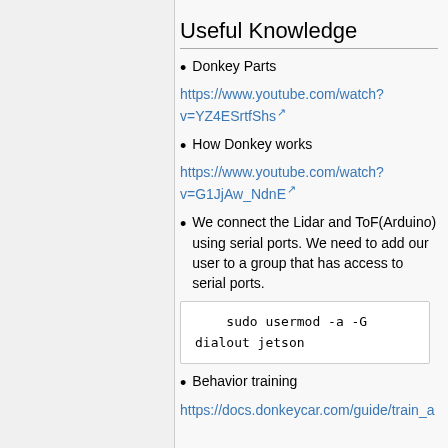Useful Knowledge
Donkey Parts
https://www.youtube.com/watch?v=YZ4ESrtfShs
How Donkey works
https://www.youtube.com/watch?v=G1JjAw_NdnE
We connect the Lidar and ToF(Arduino) using serial ports. We need to add our user to a group that has access to serial ports.
sudo usermod -a -G dialout jetson
Behavior training
https://docs.donkeycar.com/guide/train_a